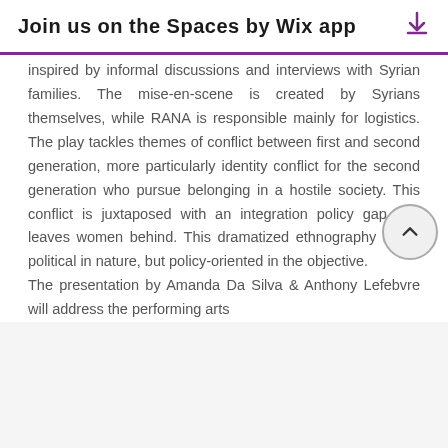Join us on the Spaces by Wix app
inspired by informal discussions and interviews with Syrian families. The mise-en-scene is created by Syrians themselves, while RANA is responsible mainly for logistics. The play tackles themes of conflict between first and second generation, more particularly identity conflict for the second generation who pursue belonging in a hostile society. This conflict is juxtaposed with an integration policy gap that leaves women behind. This dramatized ethnography is not political in nature, but policy-oriented in the objective.
The presentation by Amanda Da Silva & Anthony Lefebvre will address the performing arts